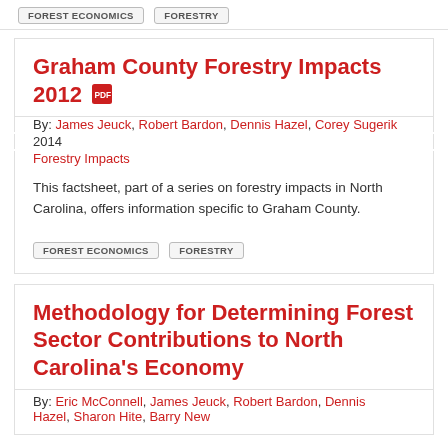FOREST ECONOMICS   FORESTRY
Graham County Forestry Impacts 2012
By: James Jeuck, Robert Bardon, Dennis Hazel, Corey Sugerik
2014
Forestry Impacts
This factsheet, part of a series on forestry impacts in North Carolina, offers information specific to Graham County.
FOREST ECONOMICS   FORESTRY
Methodology for Determining Forest Sector Contributions to North Carolina's Economy
By: Eric McConnell, James Jeuck, Robert Bardon, Dennis Hazel, Sharon Hite, Barry New